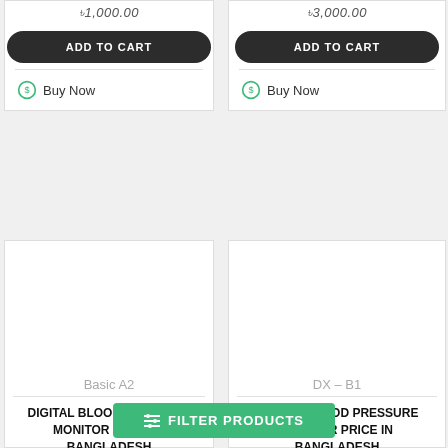৳1,000.00
ADD TO CART
Buy Now
৳3,000.00
ADD TO CART
Buy Now
Basic A2
DIGITAL BLOOD PRESSURE MONITOR PRICE IN BANGLADESH
৳4,200.00
ADD TO CART
DX – B1
DIGITAL BLOOD PRESSURE MONITOR PRICE IN BANGLADESH
৳3,600.00
ADD TO CART
FILTER PRODUCTS